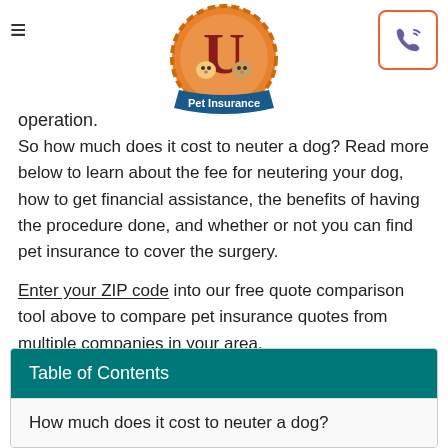Pet Insurance U logo and navigation header
operation.
So how much does it cost to neuter a dog? Read more below to learn about the fee for neutering your dog, how to get financial assistance, the benefits of having the procedure done, and whether or not you can find pet insurance to cover the surgery.
Enter your ZIP code into our free quote comparison tool above to compare pet insurance quotes from multiple companies in your area.
Table of Contents
How much does it cost to neuter a dog?